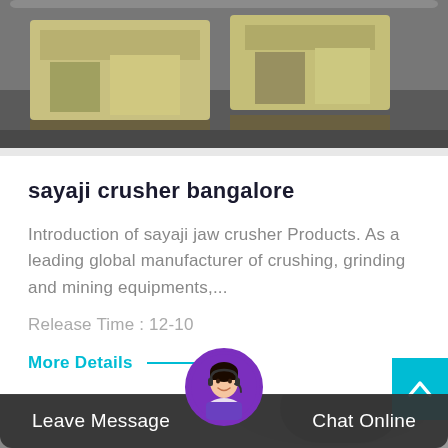[Figure (photo): Industrial machinery/crusher equipment in a warehouse or factory setting, yellowish-green machines on gray floor]
sayaji crusher bangalore
Introduction of sayaji jaw crusher Products. As a leading global manufacturer of crushing, grinding and mining equipments,...
Release Time : 12-10
More Details
[Figure (photo): Partial view of industrial equipment with customer service agent avatar overlay]
Leave Message
Chat Online